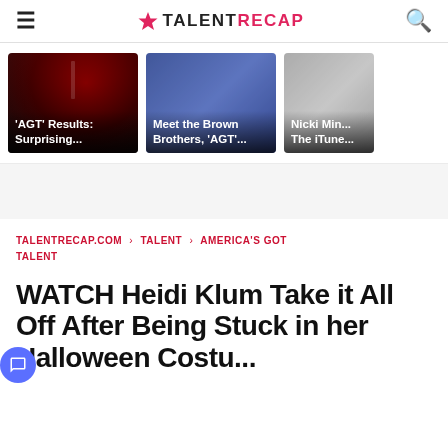TALENT RECAP
[Figure (screenshot): Thumbnail card: 'AGT' Results: Surprising... — dark stage with red lighting]
[Figure (screenshot): Thumbnail card: Meet the Brown Brothers, 'AGT'... — two men smiling on blue-lit stage]
[Figure (screenshot): Thumbnail card: Nicki Min... The iTune... — partial card with grey background]
TALENTRECAP.COM › TALENT › AMERICA'S GOT TALENT
WATCH Heidi Klum Take it All Off After Being Stuck in her Halloween Costu...